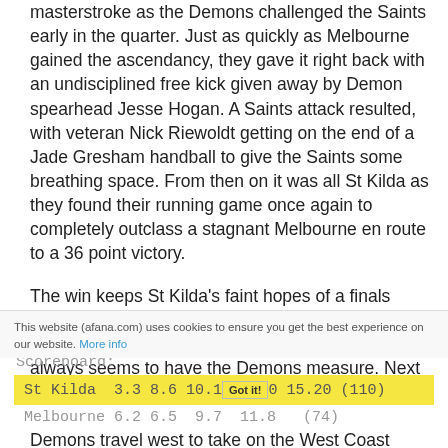masterstroke as the Demons challenged the Saints early in the quarter. Just as quickly as Melbourne gained the ascendancy, they gave it right back with an undisciplined free kick given away by Demon spearhead Jesse Hogan. A Saints attack resulted, with veteran Nick Riewoldt getting on the end of a Jade Gresham handball to give the Saints some breathing space. From then on it was all St Kilda as they found their running game once again to completely outclass a stagnant Melbourne en route to a 36 point victory.
The win keeps St Kilda's faint hopes of a finals appearance alive while Melbourne will lament yet another lost opportunity against a Saints team that always seems to have the Demons measure. Next up the Saints have a massive game against the Western Bulldogs at Etihad Stadium, while the Demons travel west to take on the West Coast Eagles in Perth.
This website (afana.com) uses cookies to ensure you get the best experience on our website. More info
Scoreboard:
St Kilda  3.3 8.6 10.10 15.20 (110)
Melbourne 6.2 6.5  9.7  11.8  (74)